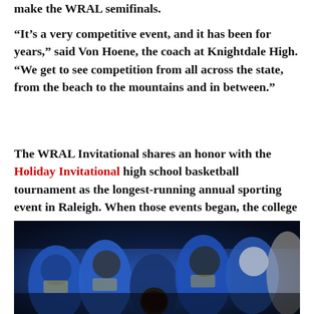make the WRAL semifinals.
“It’s a very competitive event, and it has been for years,” said Von Hoene, the coach at Knightdale High. “We get to see competition from all across the state, from the beach to the mountains and in between.”
The WRAL Invitational shares an honor with the Holiday Invitational high school basketball tournament as the longest-running annual sporting event in Raleigh. When those events began, the college football season was capped by 11 bowl games total, none after New Year’s Day. This season has 40 bowls plus a championship game. College basketball back then was not nearly as widely televised as it is today.
[Figure (photo): Photo of people wearing blue uniforms/hoodies sitting together, partial view cropped at bottom of page]